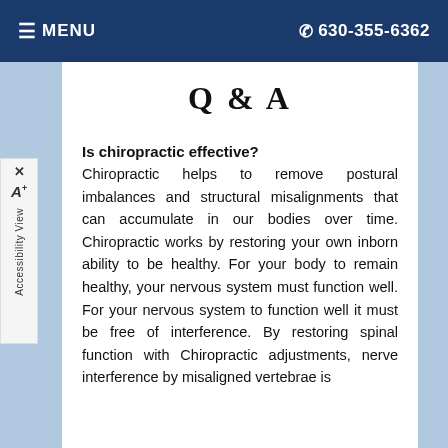≡ MENU   ☎ 630-355-6362
Q & A
Is chiropractic effective?
Chiropractic helps to remove postural imbalances and structural misalignments that can accumulate in our bodies over time. Chiropractic works by restoring your own inborn ability to be healthy. For your body to remain healthy, your nervous system must function well. For your nervous system to function well it must be free of interference. By restoring spinal function with Chiropractic adjustments, nerve interference by misaligned vertebrae is